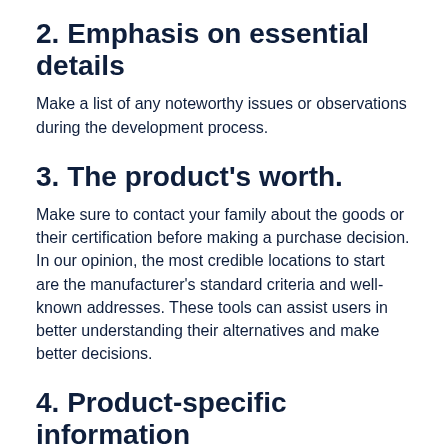2. Emphasis on essential details
Make a list of any noteworthy issues or observations during the development process.
3. The product's worth.
Make sure to contact your family about the goods or their certification before making a purchase decision. In our opinion, the most credible locations to start are the manufacturer's standard criteria and well-known addresses. These tools can assist users in better understanding their alternatives and make better decisions.
4. Product-specific information
Maintain vigilance on your financial account...